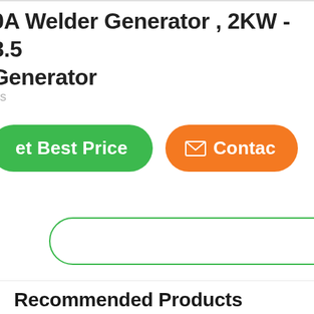0A Welder Generator , 2KW - 8.5 Generator
s
[Figure (other): Green rounded button labeled 'et Best Price' and orange rounded button labeled 'Contac' with envelope icon]
[Figure (other): Input field with green rounded border]
Recommended Products